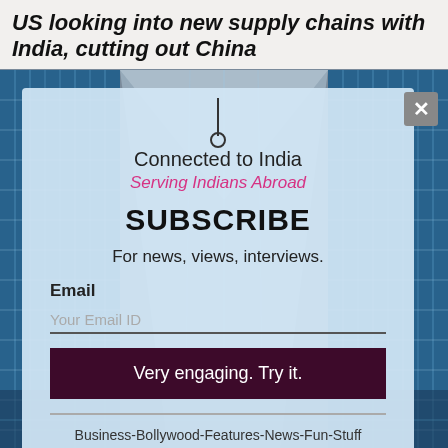US looking into new supply chains with India, cutting out China
[Figure (screenshot): Background image of blue glass skyscraper building with grid pattern]
Connected to India
Serving Indians Abroad
SUBSCRIBE
For news, views, interviews.
Email
Your Email ID
Very engaging. Try it.
Business-Bollywood-Features-News-Fun-Stuff